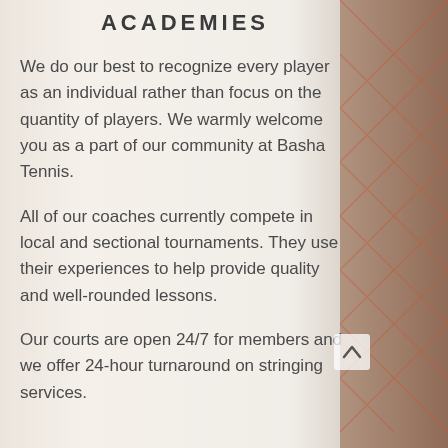ACADEMIES
We do our best to recognize every player as an individual rather than focus on the quantity of players. We warmly welcome you as a part of our community at Basha Tennis.
All of our coaches currently compete in local and sectional tournaments. They use their experiences to help provide quality and well-rounded lessons.
Our courts are open 24/7 for members and we offer 24-hour turnaround on stringing services.
[Figure (photo): Background photo of tennis court net and a person, with warm blurred tones on left and right sides. A white semi-transparent overlay covers the text area.]